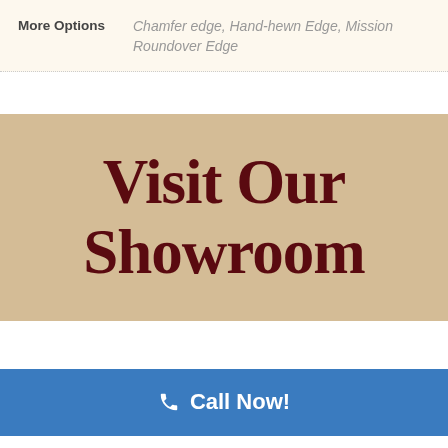| More Options |  |
| --- | --- |
| More Options | Chamfer edge, Hand-hewn Edge, Mission Roundover Edge |
Visit Our Showroom
Call Now!